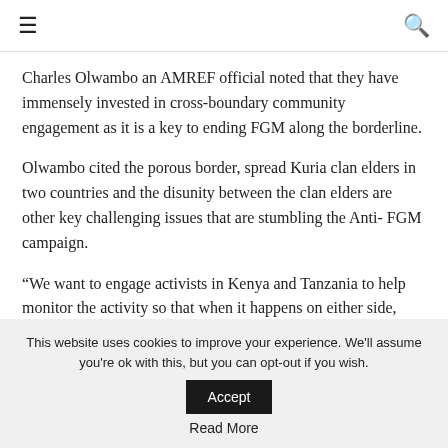≡  🔍
Charles Olwambo an AMREF official noted that they have immensely invested in cross-boundary community engagement as it is a key to ending FGM along the borderline.
Olwambo cited the porous border, spread Kuria clan elders in two countries and the disunity between the clan elders are other key challenging issues that are stumbling the Anti- FGM campaign.
“We want to engage activists in Kenya and Tanzania to help monitor the activity so that when it happens on either side, there is no escape route for the perpetrators. That is why we are engaging the clan elders from both sides,” said Olwambo.
This website uses cookies to improve your experience. We'll assume you're ok with this, but you can opt-out if you wish.
Accept
Read More